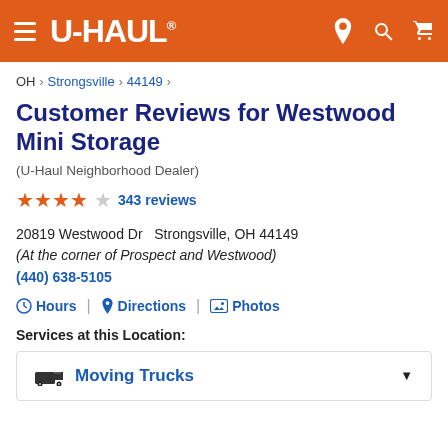U-HAUL® navigation header with hamburger menu, logo, location pin, search, and cart icons
OH > Strongsville > 44149 >
Customer Reviews for Westwood Mini Storage
(U-Haul Neighborhood Dealer)
★★★★☆ 343 reviews
20819 Westwood Dr  Strongsville, OH 44149
(At the corner of Prospect and Westwood)
(440) 638-5105
⊙ Hours  |  ♦ Directions  |  ▣ Photos
Services at this Location:
🚚 Moving Trucks ▼